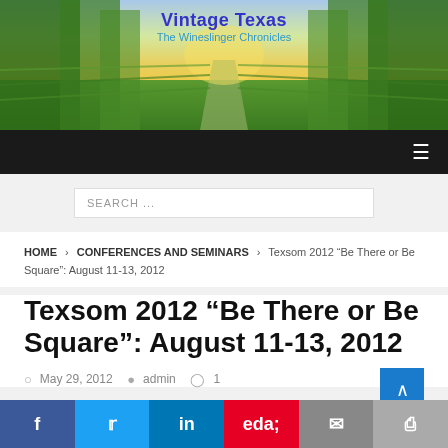Vintage Texas - The Wineslinger Chronicles
[Figure (illustration): Vineyard landscape header image with grapevines on both sides leading to a sunset sky, with blue and yellow tones]
SEARCH ...
HOME > CONFERENCES AND SEMINARS > Texsom 2012 "Be There or Be Square": August 11-13, 2012
Texsom 2012 “Be There or Be Square”: August 11-13, 2012
May 29, 2012  admin  1